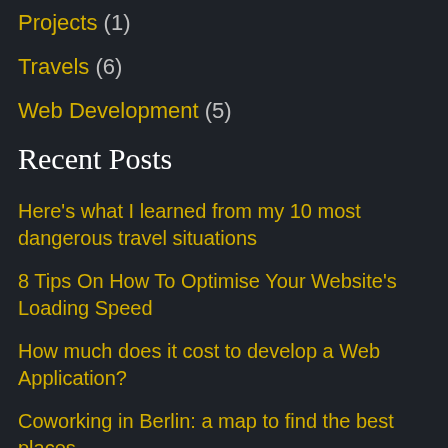Projects (1)
Travels (6)
Web Development (5)
Recent Posts
Here's what I learned from my 10 most dangerous travel situations
8 Tips On How To Optimise Your Website's Loading Speed
How much does it cost to develop a Web Application?
Coworking in Berlin: a map to find the best places